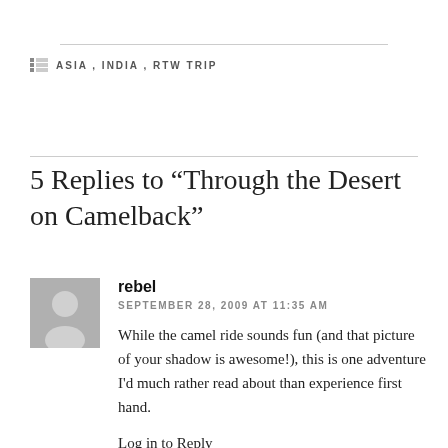ASIA , INDIA , RTW TRIP
5 Replies to “Through the Desert on Camelback”
[Figure (illustration): Grey avatar/silhouette placeholder image for commenter 'rebel']
rebel
SEPTEMBER 28, 2009 AT 11:35 AM
While the camel ride sounds fun (and that picture of your shadow is awesome!), this is one adventure I'd much rather read about than experience first hand.
Log in to Reply